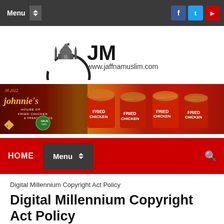Menu | [Facebook] [Twitter] [YouTube]
[Figure (logo): JM logo with mosque silhouette and text www.jaffnamuslim.com]
[Figure (photo): Johnnie's House of Fried Chicken & French Tacos advertisement banner with fried chicken buckets]
HOME | Menu
Digital Millennium Copyright Act Policy
Digital Millennium Copyright Act Policy